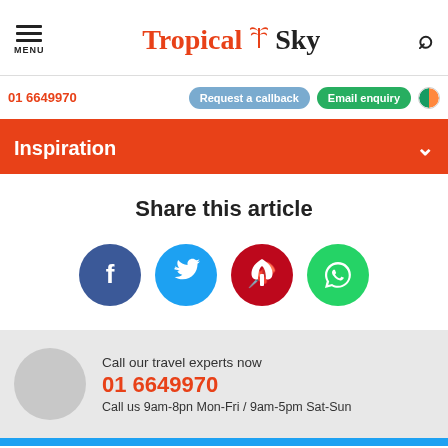MENU | Tropical Sky | Search
01 6649970 | Request a callback | Email enquiry
Inspiration
Share this article
[Figure (infographic): Four social media share buttons: Facebook (dark blue circle), Twitter (light blue circle), Pinterest (red circle), WhatsApp (green circle)]
Call our travel experts now
01 6649970
Call us 9am-8pn Mon-Fri / 9am-5pm Sat-Sun